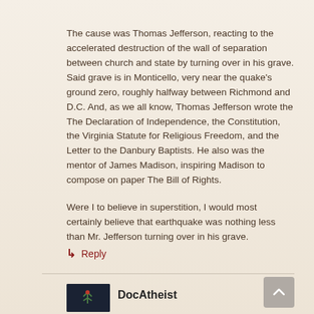The cause was Thomas Jefferson, reacting to the accelerated destruction of the wall of separation between church and state by turning over in his grave. Said grave is in Monticello, very near the quake's ground zero, roughly halfway between Richmond and D.C. And, as we all know, Thomas Jefferson wrote the The Declaration of Independence, the Constitution, the Virginia Statute for Religious Freedom, and the Letter to the Danbury Baptists. He also was the mentor of James Madison, inspiring Madison to compose on paper The Bill of Rights.
Were I to believe in superstition, I would most certainly believe that earthquake was nothing less than Mr. Jefferson turning over in his grave.
Reply
DocAtheist